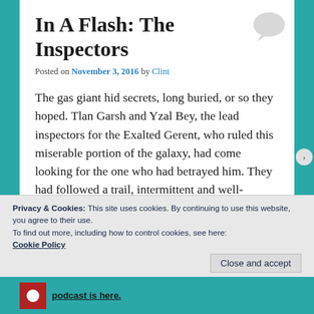In A Flash: The Inspectors
Posted on November 3, 2016 by Clint
The gas giant hid secrets, long buried, or so they hoped. Tlan Garsh and Yzal Bey, the lead inspectors for the Exalted Gerent, who ruled this miserable portion of the galaxy, had come looking for the one who had betrayed him. They had followed a trail, intermittent and well-disguised, and the evidence had brought them here to this abandoned system, with only this
Privacy & Cookies: This site uses cookies. By continuing to use this website, you agree to their use.
To find out more, including how to control cookies, see here: Cookie Policy
Close and accept
podcast is here.